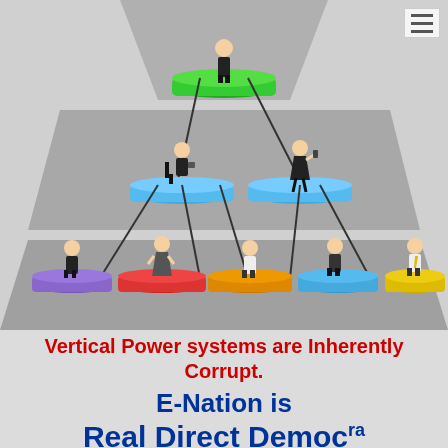[Figure (organizational-chart): A hierarchical pyramid/org-chart diagram showing a vertical power structure. Three tiers: top tier has one figure on a green platform, second tier has two figures on blue platforms connected by lines, third tier has five figures on purple, red, orange, blue, and yellow platforms. Background is grey trapezoid shapes representing hierarchy levels.]
Vertical Power systems are Inherently Corrupt.
E-Nation is
Real Direct Democracy